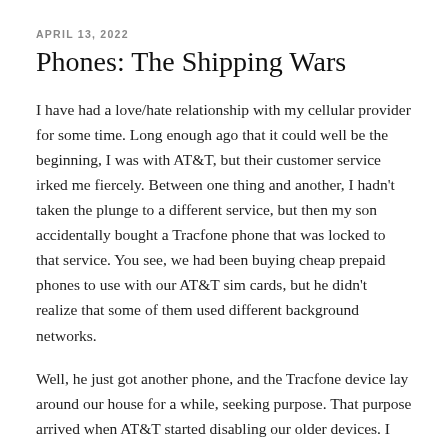APRIL 13, 2022
Phones: The Shipping Wars
I have had a love/hate relationship with my cellular provider for some time. Long enough ago that it could well be the beginning, I was with AT&T, but their customer service irked me fiercely. Between one thing and another, I hadn't taken the plunge to a different service, but then my son accidentally bought a Tracfone phone that was locked to that service. You see, we had been buying cheap prepaid phones to use with our AT&T sim cards, but he didn't realize that some of them used different background networks.
Well, he just got another phone, and the Tracfone device lay around our house for a while, seeking purpose. That purpose arrived when AT&T started disabling our older devices. I activated the Tracfone for my wife, ported the